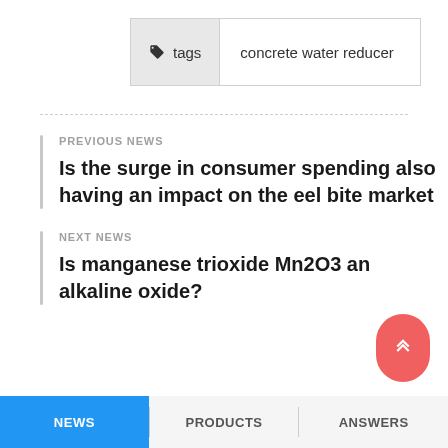tags   concrete water reducer
PREVIOUS NEWS
Is the surge in consumer spending also having an impact on the eel bite market
NEXT NEWS
Is manganese trioxide Mn2O3 an alkaline oxide?
NEWS   PRODUCTS   ANSWERS